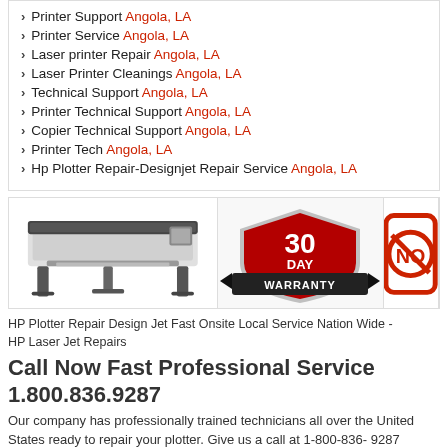Printer Support Angola, LA
Printer Service Angola, LA
Laser printer Repair Angola, LA
Laser Printer Cleanings Angola, LA
Technical Support Angola, LA
Printer Technical Support Angola, LA
Copier Technical Support Angola, LA
Printer Tech Angola, LA
Hp Plotter Repair-Designjet Repair Service Angola, LA
[Figure (photo): HP large format plotter/printer on stand, 30 Day Warranty badge, and partial No symbol icon]
HP Plotter Repair Design Jet Fast Onsite Local Service Nation Wide - HP Laser Jet Repairs
Call Now Fast Professional Service 1.800.836.9287
Our company has professionally trained technicians all over the United States ready to repair your plotter. Give us a call at 1-800-836-9287